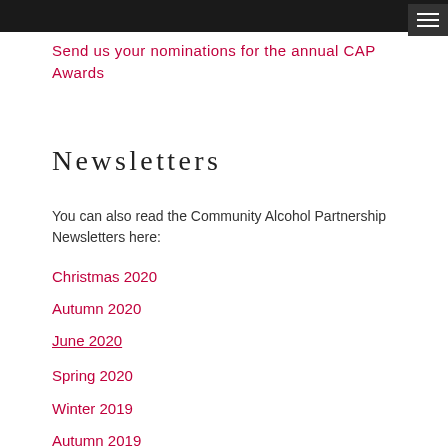Send us your nominations for the annual CAP Awards
Newsletters
You can also read the Community Alcohol Partnership Newsletters here:
Christmas 2020
Autumn 2020
June 2020
Spring 2020
Winter 2019
Autumn 2019